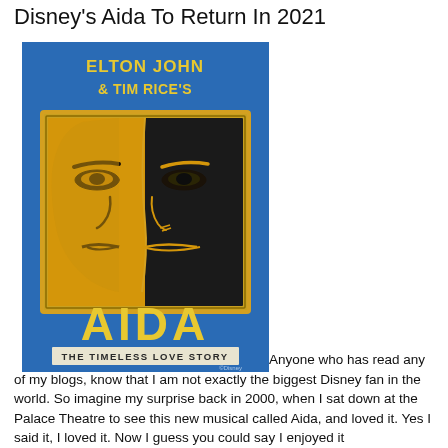Disney's Aida To Return In 2021
[Figure (illustration): Theatrical poster for Elton John & Tim Rice's AIDA – The Timeless Love Story. Blue background with a stylized split face (half gold/half dark) in a gold-bordered frame. Text reads ELTON JOHN & TIM RICE'S at top in yellow, AIDA large in yellow at bottom, and THE TIMELESS LOVE STORY in a white banner beneath.]
Anyone who has read any of my blogs, know that I am not exactly the biggest Disney fan in the world. So imagine my surprise back in 2000, when I sat down at the Palace Theatre to see this new musical called Aida, and loved it. Yes I said it, I loved it. Now I guess you could say I enjoyed it